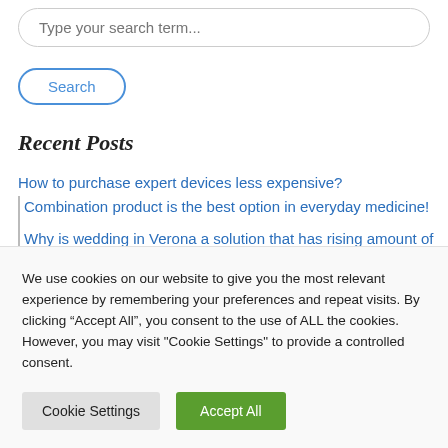[Figure (screenshot): Search input box with placeholder text 'Type your search term...']
[Figure (screenshot): Search button with blue outline]
Recent Posts
How to purchase expert devices less expensive?
Combination product is the best option in everyday medicine!
Why is wedding in Verona a solution that has rising amount of customers among the EU countries?
We use cookies on our website to give you the most relevant experience by remembering your preferences and repeat visits. By clicking “Accept All”, you consent to the use of ALL the cookies. However, you may visit "Cookie Settings" to provide a controlled consent.
[Figure (screenshot): Cookie Settings button (gray) and Accept All button (green)]